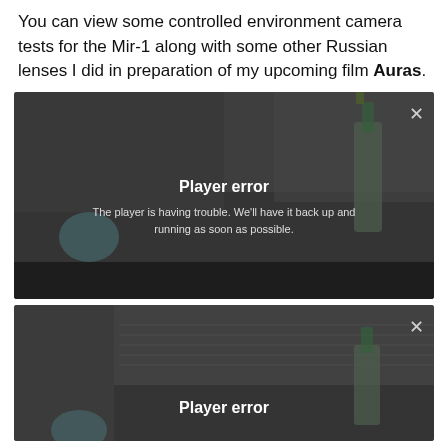You can view some controlled environment camera tests for the Mir-1 along with some other Russian lenses I did in preparation of my upcoming film Auras.
[Figure (screenshot): Video player showing a blurred indoor scene with a bottle and decorative items, displaying a 'Player error' overlay message: 'The player is having trouble. We'll have it back up and running as soon as possible.' with a close (X) button in the top right.]
[Figure (screenshot): Second video player showing a similar blurred indoor scene, displaying a 'Player error' overlay message, partially visible at the bottom of the page, with a close (X) button in the top right.]